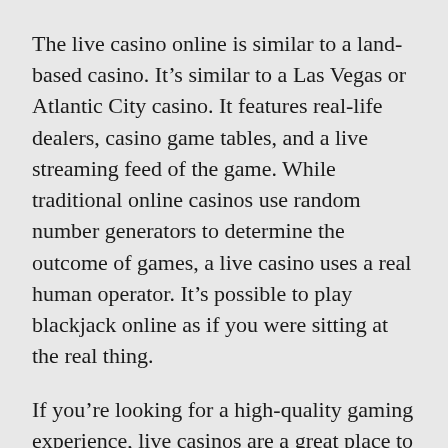The live casino online is similar to a land-based casino. It's similar to a Las Vegas or Atlantic City casino. It features real-life dealers, casino game tables, and a live streaming feed of the game. While traditional online casinos use random number generators to determine the outcome of games, a live casino uses a real human operator. It's possible to play blackjack online as if you were sitting at the real thing.
If you're looking for a high-quality gaming experience, live casinos are a great place to start. They offer popular games such as poker, blackjack, and roulette. Many of these games are played with real dealers, making them easier to trust than any other online casino. A